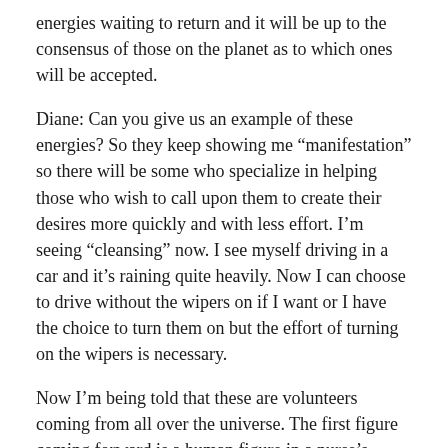energies waiting to return and it will be up to the consensus of those on the planet as to which ones will be accepted.
Diane: Can you give us an example of these energies? So they keep showing me “manifestation” so there will be some who specialize in helping those who wish to call upon them to create their desires more quickly and with less effort. I’m seeing “cleansing” now. I see myself driving in a car and it’s raining quite heavily. Now I can choose to drive without the wipers on if I want or I have the choice to turn them on but the effort of turning on the wipers is necessary.
Now I’m being told that these are volunteers coming from all over the universe. The first figure coming forward is a human figure in a nurse’s uniform. They are specialists in their fields so no matter what the subject, they will have someone on their team to help.